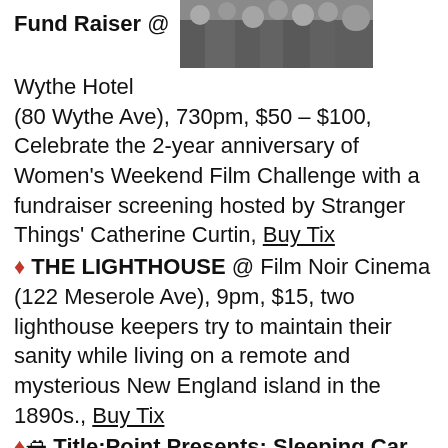Fund Raiser @ Wythe Hotel (80 Wythe Ave), 730pm, $50 – $100, Celebrate the 2-year anniversary of Women's Weekend Film Challenge with a fundraiser screening hosted by Stranger Things' Catherine Curtin, Buy Tix
[Figure (photo): Group photo of people at an event]
♦ THE LIGHTHOUSE @ Film Noir Cinema (122 Meserole Ave), 9pm, $15, two lighthouse keepers try to maintain their sanity while living on a remote and mysterious New England island in the 1890s., Buy Tix
♦🛳 Title:Point Presents: Sleeping Car Porters @ The Brick (579 Metropolitan Ave) 8pm, $20, a pitch black comedy that explores western masculine myth through a